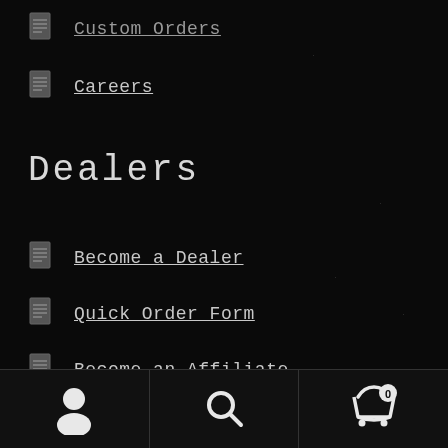Custom Orders
Careers
Dealers
Become a Dealer
Quick Order Form
Become an Affiliate
[Figure (infographic): Bottom navigation bar with user/account icon, search icon, and shopping cart icon with badge showing 0]